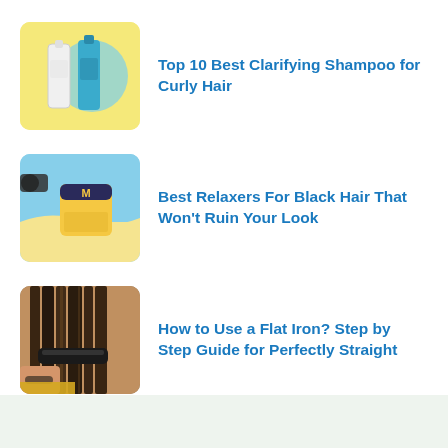[Figure (photo): Product photo: two shampoo bottles (white and teal) on yellow background with blue circle accent — Top 10 Best Clarifying Shampoo thumbnail]
Top 10 Best Clarifying Shampoo for Curly Hair
[Figure (photo): Product photo: yellow jar of hair relaxer on blue and yellow background — Best Relaxers For Black Hair thumbnail]
Best Relaxers For Black Hair That Won't Ruin Your Look
[Figure (photo): Photo of person using flat iron on straight dark hair — How to Use a Flat Iron thumbnail]
How to Use a Flat Iron? Step by Step Guide for Perfectly Straight